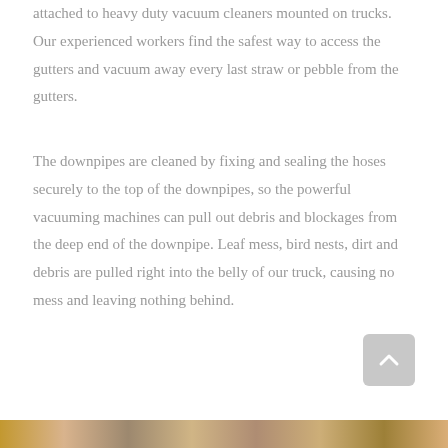attached to heavy duty vacuum cleaners mounted on trucks. Our experienced workers find the safest way to access the gutters and vacuum away every last straw or pebble from the gutters.
The downpipes are cleaned by fixing and sealing the hoses securely to the top of the downpipes, so the powerful vacuuming machines can pull out debris and blockages from the deep end of the downpipe. Leaf mess, bird nests, dirt and debris are pulled right into the belly of our truck, causing no mess and leaving nothing behind.
[Figure (other): Scroll-to-top button with upward chevron arrow, rounded rectangle, grey background]
[Figure (photo): Partial view of a photo strip at the bottom of the page showing outdoor/gutter cleaning related imagery]